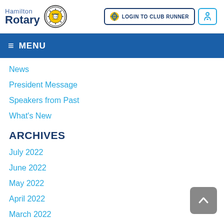[Figure (logo): Hamilton Rotary Club logo with circular Rotary Club emblem]
LOGIN TO CLUB RUNNER
≡ MENU
News
President Message
Speakers from Past
What's New
ARCHIVES
July 2022
June 2022
May 2022
April 2022
March 2022